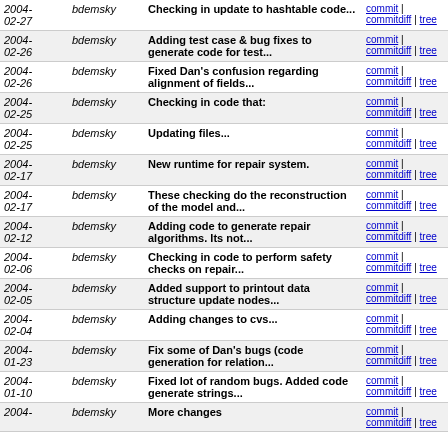| Date | Author | Message | Links |
| --- | --- | --- | --- |
| 2004-02-27 | bdemsky | Checking in update to hashtable code... | commit | commitdiff | tree |
| 2004-02-26 | bdemsky | Adding test case & bug fixes to generate code for test... | commit | commitdiff | tree |
| 2004-02-26 | bdemsky | Fixed Dan's confusion regarding alignment of fields... | commit | commitdiff | tree |
| 2004-02-25 | bdemsky | Checking in code that: | commit | commitdiff | tree |
| 2004-02-25 | bdemsky | Updating files... | commit | commitdiff | tree |
| 2004-02-17 | bdemsky | New runtime for repair system. | commit | commitdiff | tree |
| 2004-02-17 | bdemsky | These checking do the reconstruction of the model and... | commit | commitdiff | tree |
| 2004-02-12 | bdemsky | Adding code to generate repair algorithms. Its not... | commit | commitdiff | tree |
| 2004-02-06 | bdemsky | Checking in code to perform safety checks on repair... | commit | commitdiff | tree |
| 2004-02-05 | bdemsky | Added support to printout data structure update nodes... | commit | commitdiff | tree |
| 2004-02-04 | bdemsky | Adding changes to cvs... | commit | commitdiff | tree |
| 2004-01-23 | bdemsky | Fix some of Dan's bugs (code generation for relation... | commit | commitdiff | tree |
| 2004-01-10 | bdemsky | Fixed lot of random bugs. Added code generate strings... | commit | commitdiff | tree |
| 2004- | bdemsky | More changes | commit | commitdiff | tree |